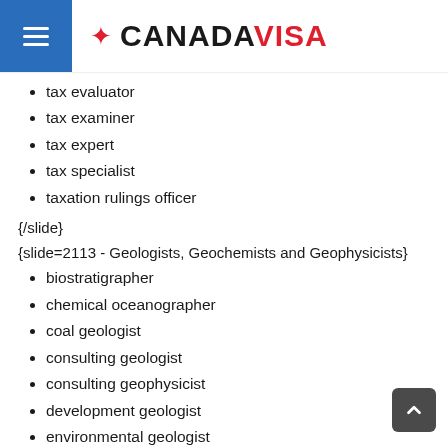CANADAVISA
tax evaluator
tax examiner
tax expert
tax specialist
taxation rulings officer
{/slide}
{slide=2113 - Geologists, Geochemists and Geophysicists}
biostratigrapher
chemical oceanographer
coal geologist
consulting geologist
consulting geophysicist
development geologist
environmental geologist
exploration geologist
exploration geophysicist
geochemist